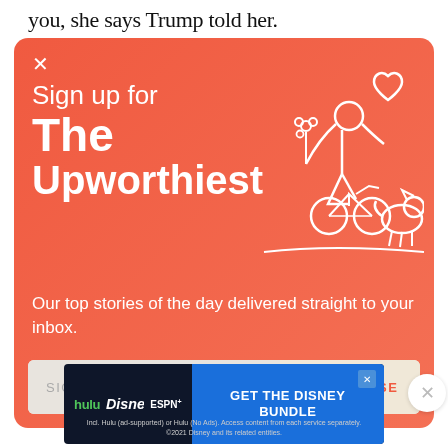you, she says Trump told her.
[Figure (illustration): Orange popup card with white illustration of a person on a bicycle holding flowers with a dog, and a heart symbol. Sign-up form for 'The Upworthiest' newsletter.]
Sign up for The Upworthiest
Our top stories of the day delivered straight to your inbox.
SIGN ME UP
YES PLEASE
[Figure (advertisement): Disney Bundle advertisement banner with Hulu, Disney+, and ESPN+ logos and 'GET THE DISNEY BUNDLE' call to action.]